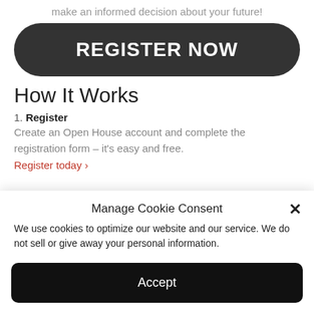make an informed decision about your future!
[Figure (other): Dark rounded rectangle button with white bold text reading REGISTER NOW]
How It Works
1. Register
Create an Open House account and complete the registration form – it's easy and free.
Register today ›
Manage Cookie Consent
We use cookies to optimize our website and our service. We do not sell or give away your personal information.
[Figure (other): Black rounded rectangle button with white text reading Accept]